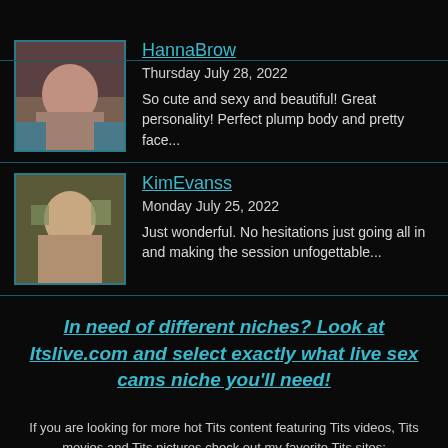[Figure (photo): Thumbnail photo of HannaBrow]
HannaBrow
Thursday July 28, 2022
So cute and sexy and beautiful! Great personality! Perfect plump body and pretty face...
[Figure (photo): Thumbnail photo of KimEvanss]
KimEvanss
Monday July 25, 2022
Just wonderful. No hesitations just going all in and making the session unfogettable...
In need of different niches? Look at Itslive.com and select exactly what live sex cams niche you'll need!
If you are looking for more hot Tits content featuring Tits videos, Tits movies and Tits pictures check out my favorite Tits sites: